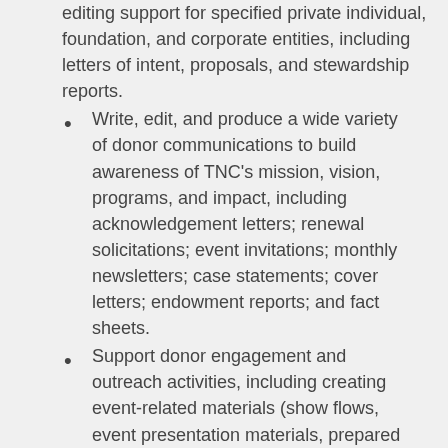editing support for specified private individual, foundation, and corporate entities, including letters of intent, proposals, and stewardship reports.
Write, edit, and produce a wide variety of donor communications to build awareness of TNC’s mission, vision, programs, and impact, including acknowledgement letters; renewal solicitations; event invitations; monthly newsletters; case statements; cover letters; endowment reports; and fact sheets.
Support donor engagement and outreach activities, including creating event-related materials (show flows, event presentation materials, prepared remarks, etc.)
Coordinate frequent email campaigns for mass donor communications using MailChimp.
Participate in the creation of the annual development communications plan, led by the Director of Philanthropy and Philanthropy Program